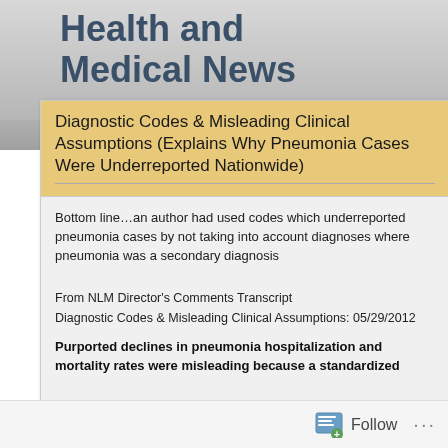Health and Medical News and Resources
Diagnostic Codes & Misleading Clinical Assumptions (Explains Why Pneumonia Cases Were Underreported Nationwide)
Bottom line…an author had used codes which underreported pneumonia cases by not taking into account diagnoses where pneumonia was a secondary diagnosis
From NLM Director's Comments Transcript
Diagnostic Codes & Misleading Clinical Assumptions: 05/29/2012
Purported declines in pneumonia hospitalization and mortality rates were misleading because a standardized
Follow